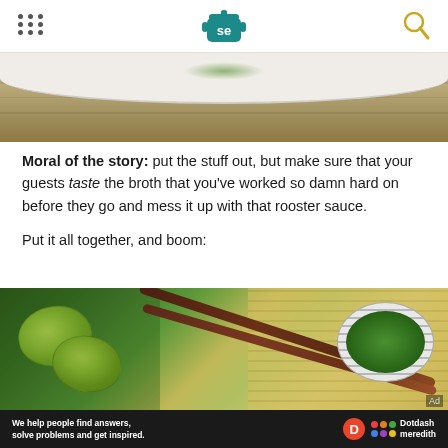Serious Eats header with logo and navigation
[Figure (photo): Top portion of a food photo showing a plate with a wood surface background]
Moral of the story: put the stuff out, but make sure that your guests taste the broth that you've worked so damn hard on before they go and mess it up with that rooster sauce.

Put it all together, and boom:
[Figure (photo): Food photo showing lime wedges, fresh herbs (mint, cilantro), chopsticks, and a bowl of pho garnishes on a bamboo mat]
We help people find answers, solve problems and get inspired. Dotdash meredith